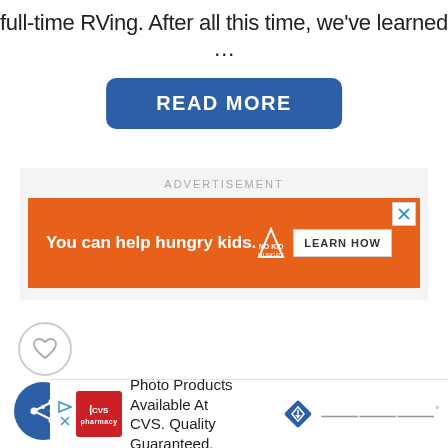full-time RVing. After all this time, we've learned ...
[Figure (other): READ MORE button — blue rounded rectangle with white bold text]
ADVERTISEMENT
[Figure (other): Orange advertisement banner: 'You can help hungry kids.' with No Kid Hungry logo and LEARN HOW button]
[Figure (other): Heart (like) button — circular white button with heart outline icon]
[Figure (other): Share button — circular blue button with share/network icon]
[Figure (other): Bottom advertisement banner: CVS Pharmacy logo, 'Photo Products Available At CVS. Quality Guaranteed.' with navigation and Waze-style icons]